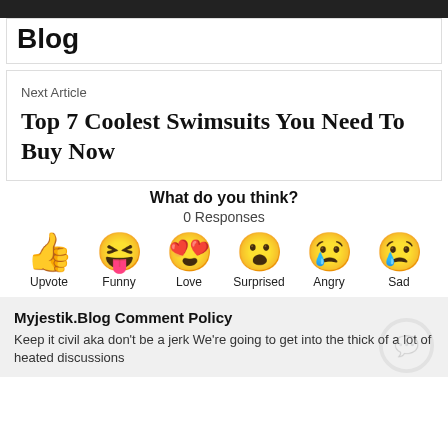Blog
Next Article
Top 7 Coolest Swimsuits You Need To Buy Now
What do you think?
0 Responses
[Figure (infographic): Six reaction emoji icons with labels: Upvote (thumbs up), Funny (laughing with tongue), Love (heart eyes), Surprised (wide eyes), Angry (crying with squint), Sad (tear drop)]
Myjestik.Blog Comment Policy
Keep it civil aka don't be a jerk We're going to get into the thick of a lot of heated discussions